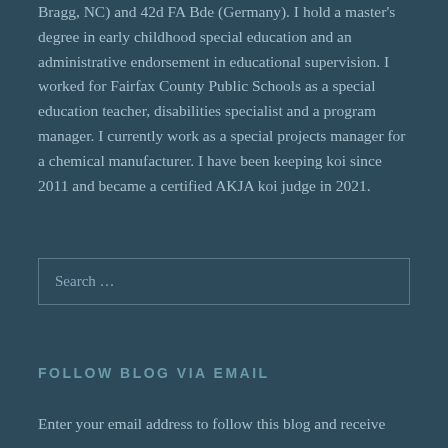Bragg, NC) and 42d FA Bde (Germany). I hold a master's degree in early childhood special education and an administrative endorsement in educational supervision. I worked for Fairfax County Public Schools as a special education teacher, disabilities specialist and a program manager. I currently work as a special projects manager for a chemical manufacturer. I have been keeping koi since 2011 and became a certified AKJA koi judge in 2021.
Search …
FOLLOW BLOG VIA EMAIL
Enter your email address to follow this blog and receive